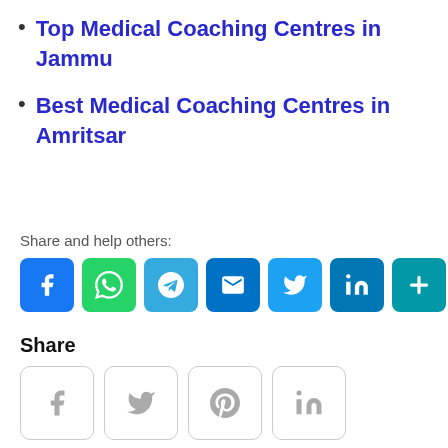Top Medical Coaching Centres in Jammu
Best Medical Coaching Centres in Amritsar
Share and help others:
[Figure (infographic): Row of social share icon buttons: Facebook (blue), WhatsApp (green), Telegram (light blue), Email (dark blue), Twitter (blue), LinkedIn (dark blue/teal), More/Plus (teal)]
Share
[Figure (infographic): Row of four light-bordered share buttons: Facebook (f), Twitter (bird), Pinterest (p), LinkedIn (in)]